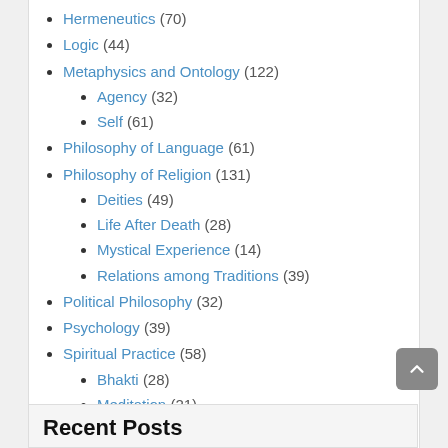Hermeneutics (70)
Logic (44)
Metaphysics and Ontology (122)
Agency (32)
Self (61)
Philosophy of Language (61)
Philosophy of Religion (131)
Deities (49)
Life After Death (28)
Mystical Experience (14)
Relations among Traditions (39)
Political Philosophy (32)
Psychology (39)
Spiritual Practice (58)
Bhakti (28)
Meditation (21)
Tantra (3)
Yoga as Practice (11)
Uncategorized (121)
Recent Posts